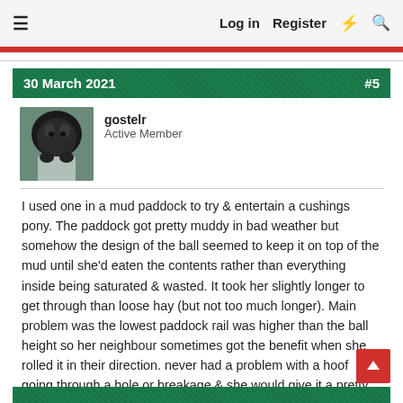≡  Log in  Register  ⚡  🔍
30 March 2021  #5
[Figure (photo): Avatar photo of a dark horse/pony]
gostelr
Active Member
I used one in a mud paddock to try & entertain a cushings pony. The paddock got pretty muddy in bad weather but somehow the design of the ball seemed to keep it on top of the mud until she'd eaten the contents rather than everything inside being saturated & wasted. It took her slightly longer to get through than loose hay (but not too much longer). Main problem was the lowest paddock rail was higher than the ball height so her neighbour sometimes got the benefit when she rolled it in their direction. never had a problem with a hoof going through a hole or breakage & she would give it a pretty good boot around the place.